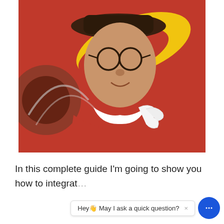[Figure (photo): A person dressed in a red costume with a white ruffled collar, wearing round glasses and a dark hat, posed in front of a colorful mural background with red and yellow swirling shapes.]
In this complete guide I'm going to show you how to integrat...
[Figure (screenshot): A live chat widget showing a tooltip that reads 'Hey! May I ask a quick question? x' next to a blue circular chat icon with ellipsis dots.]